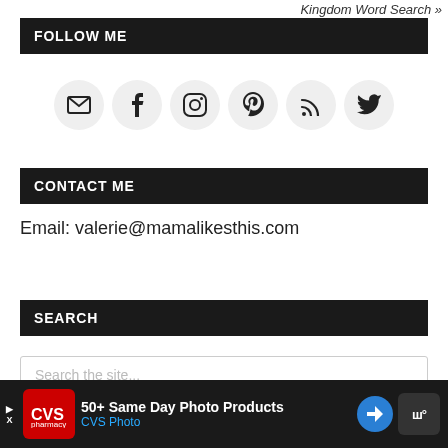Kingdom Word Search »
FOLLOW ME
[Figure (illustration): Six social media icon circles in a row: email/envelope, Facebook, Instagram, Pinterest, RSS feed, Twitter]
CONTACT ME
Email: valerie@mamalikesthis.com
SEARCH
Search the site...
[Figure (screenshot): Advertisement banner at bottom: CVS Pharmacy ad reading '50+ Same Day Photo Products' and 'CVS Photo' with a red CVS logo and navigation/app icons]